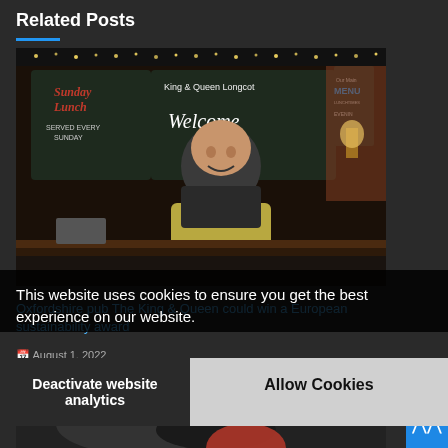Related Posts
[Figure (photo): Man in yellow apron standing in front of pub chalkboard signs reading 'Sunday Lunch', 'King & Queen Longcot', 'Welcome', 'Our Main Menu' at the King & Queen pub]
This website uses cookies to ensure you get the best experience on our website.
Oxfordshire pub The King & Queen could win a European sustainability award
August 1, 2022
Deactivate website analytics
Allow Cookies
[Figure (photo): Bottom portion of another related post image, partially visible]